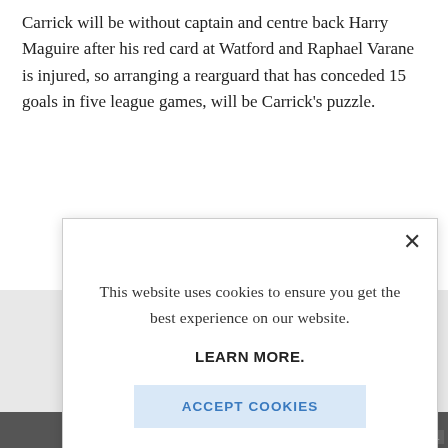Carrick will be without captain and centre back Harry Maguire after his red card at Watford and Raphael Varane is injured, so arranging a rearguard that has conceded 15 goals in five league games, will be Carrick's puzzle.
[Figure (screenshot): Cookie consent modal popup overlaying a news article page. The modal contains a close button (×), the message 'This website uses cookies to ensure you get the best experience on our website.', a 'LEARN MORE.' link in bold, and an 'ACCEPT COOKIES' button in a light blue rectangle. Behind the modal is a gray background area with a partial image strip at the bottom.]